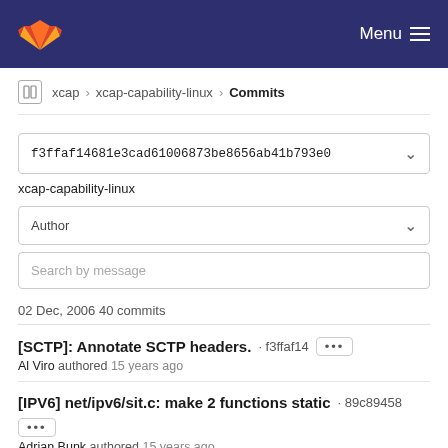GitLab · Menu
xcap › xcap-capability-linux › Commits
f3ffaf14681e3cad61006873be8656ab41b793e0
xcap-capability-linux
Author
Search by message
02 Dec, 2006 40 commits
[SCTP]: Annotate SCTP headers. · f3ffaf14 ··· Al Viro authored 15 years ago
[IPV6] net/ipv6/sit.c: make 2 functions static · 89c89458 ··· Adrian Bunk authored 15 years ago